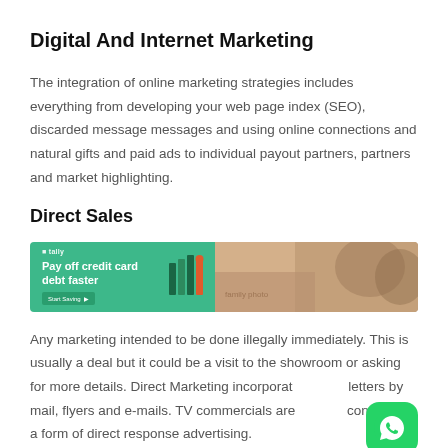Digital And Internet Marketing
The integration of online marketing strategies includes everything from developing your web page index (SEO), discarded message messages and using online connections and natural gifts and paid ads to individual payout partners, partners and market highlighting.
Direct Sales
[Figure (illustration): A banner advertisement for a financial service (Tally) showing 'Pay off credit card debt faster' on a green background with book icons and a 'Start Saving' button on the left, and a photo of a family on the right.]
Any marketing intended to be done illegally immediately. This is usually a deal but it could be a visit to the showroom or asking for more details. Direct Marketing incorporates letters by mail, flyers and e-mails. TV commercials are considered a form of direct response advertising.